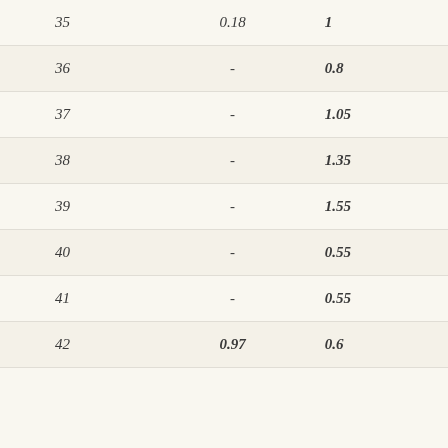| 35 | 0.18 | 1 |
| 36 | - | 0.8 |
| 37 | - | 1.05 |
| 38 | - | 1.35 |
| 39 | - | 1.55 |
| 40 | - | 0.55 |
| 41 | - | 0.55 |
| 42 | 0.97 | 0.6 |